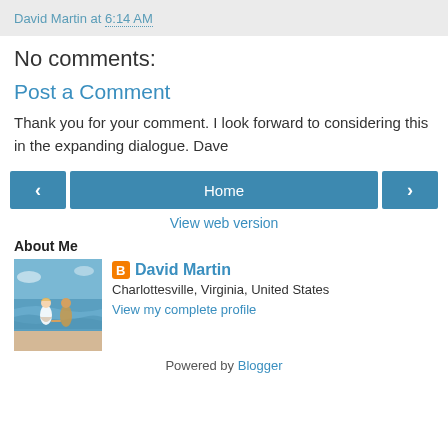David Martin at 6:14 AM
No comments:
Post a Comment
Thank you for your comment. I look forward to considering this in the expanding dialogue. Dave
[Figure (other): Navigation buttons: left arrow, Home, right arrow]
View web version
About Me
[Figure (photo): Profile photo: couple walking on beach]
David Martin
Charlottesville, Virginia, United States
View my complete profile
Powered by Blogger